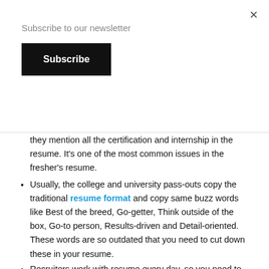Subscribe to our newsletter
Subscribe
they mention all the certification and internship in the resume. It's one of the most common issues in the fresher's resume.
Usually, the college and university pass-outs copy the traditional resume format and copy same buzz words like Best of the breed, Go-getter, Think outside of the box, Go-to person, Results-driven and Detail-oriented. These words are so outdated that you need to cut down these in your resume.
Recruiters work with resume every day, so you need to tweak your resume as per the job requirement.
Your resume should not look like your biography, avoid stuffing the unrelated information in your resume.